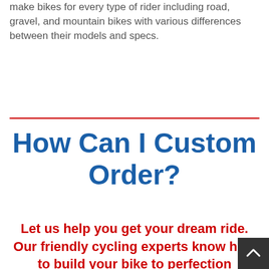make bikes for every type of rider including road, gravel, and mountain bikes with various differences between their models and specs.
How Can I Custom Order?
Let us help you get your dream ride. Our friendly cycling experts know how to build your bike to perfection